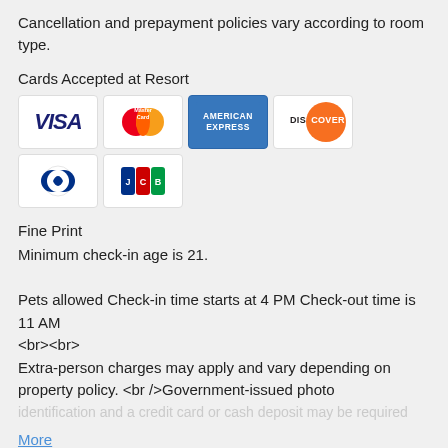Cancellation and prepayment policies vary according to room type.
Cards Accepted at Resort
[Figure (other): Credit card logos: VISA, MasterCard, American Express, Discover, Diners Club, JCB]
Fine Print
Minimum check-in age is 21.

Pets allowed Check-in time starts at 4 PM Check-out time is 11 AM
<br><br>
Extra-person charges may apply and vary depending on property policy. <br />Government-issued photo identification and a credit card or cash deposit may be required at check-in for incidental charges

More